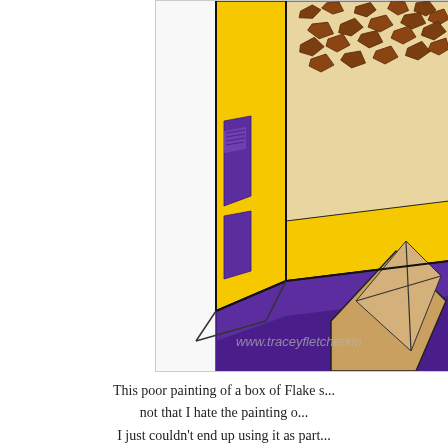[Figure (illustration): A cropped illustration/painting of a box of Flake chocolate, showing yellow and purple packaging with chocolate flake pieces scattered on top. The box is depicted at an angle. A watermark reads 'www.traceyfletcherkin...' at the bottom of the image.]
This poor painting of a box of Flake s... not that I hate the painting o... I just couldn't end up using it as part...